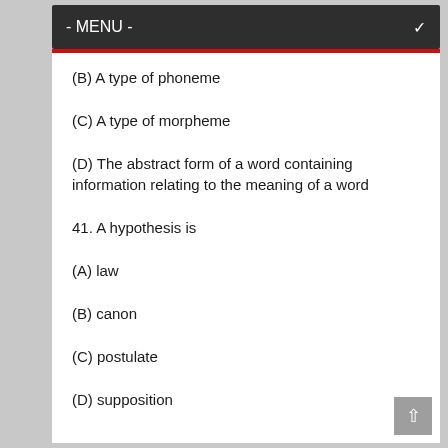- MENU -
(B) A type of phoneme
(C) A type of morpheme
(D) The abstract form of a word containing information relating to the meaning of a word
41. A hypothesis is
(A) law
(B) canon
(C) postulate
(D) supposition